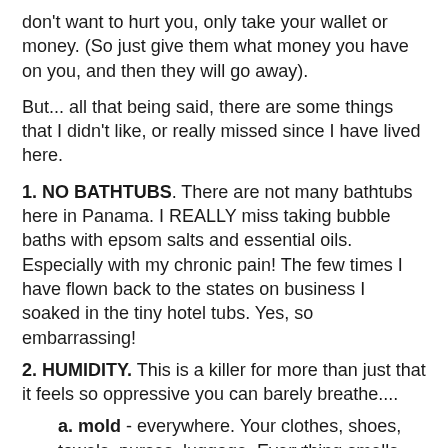don't want to hurt you, only take your wallet or money. (So just give them what money you have on you, and then they will go away).
But... all that being said, there are some things that I didn't like, or really missed since I have lived here.
1. NO BATHTUBS. There are not many bathtubs here in Panama. I REALLY miss taking bubble baths with epsom salts and essential oils. Especially with my chronic pain! The few times I have flown back to the states on business I soaked in the tiny hotel tubs. Yes, so embarrassing!
2. HUMIDITY. This is a killer for more than just that it feels so oppressive you can barely breathe....
a. mold - everywhere. Your clothes, shoes, towels, purses, luggage. Everything smells musty. You will have mold on your clothes. Trust me. Or you can choose to use your AC every day and pay huge electricity bills.
b. elastic - forget elastic bands on your clothing. After a few months it completely stretches out and loses all its elasticity. I have bought my husband packs and packs of